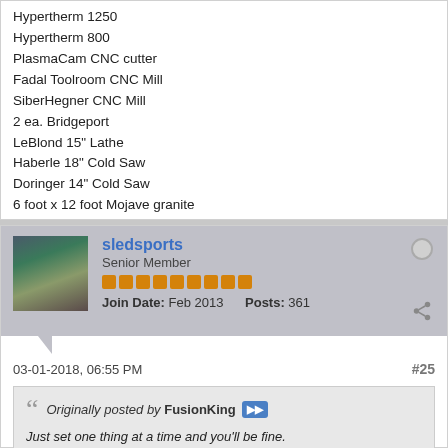Hypertherm 1250
Hypertherm 800
PlasmaCam CNC cutter
Fadal Toolroom CNC Mill
SiberHegner CNC Mill
2 ea. Bridgeport
LeBlond 15" Lathe
Haberle 18" Cold Saw
Doringer 14" Cold Saw
6 foot x 12 foot Mojave granite
sledsports
Senior Member
Join Date: Feb 2013  Posts: 361
03-01-2018, 06:55 PM  #25
Originally posted by FusionKing
Just set one thing at a time and you'll be fine.
I personally don't care for the default settings still even though I have used Dynasties for a decade, but they are close enough to get you going.
Syncrowave to dynasty really isn't all that big of a leap actually. The main difference (to ME) with an inverter is the